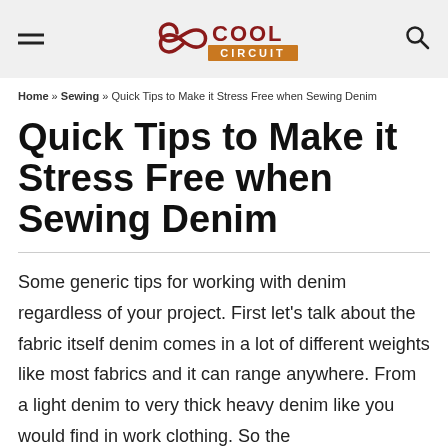Cool Circuit
Home » Sewing » Quick Tips to Make it Stress Free when Sewing Denim
Quick Tips to Make it Stress Free when Sewing Denim
Some generic tips for working with denim regardless of your project. First let's talk about the fabric itself denim comes in a lot of different weights like most fabrics and it can range anywhere. From a light denim to very thick heavy denim like you would find in work clothing. So the